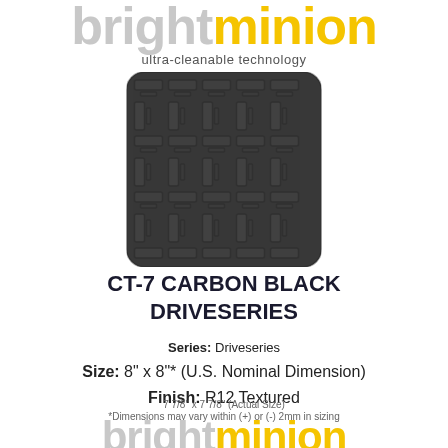brightminion ultra-cleanable technology
[Figure (photo): Dark charcoal/carbon black textured tile swatch with a woven basket-weave or grid pattern, rounded corners, photographed straight-on.]
CT-7 CARBON BLACK DRIVESERIES
Series: Driveseries
Size: 8" x 8"* (U.S. Nominal Dimension)
Finish: R12 Textured
7 7/8" x 7 7/8" (Actual Size)
*Dimensions may vary within (+) or (-) 2mm in sizing
brightminion